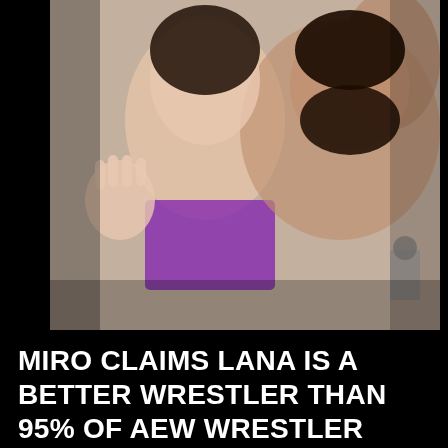[Figure (photo): A woman in a purple bikini top waving at camera, standing next to a shirtless muscular bearded man flexing his arm, appearing to be in a bathroom setting]
MIRO CLAIMS LANA IS A BETTER WRESTLER THAN 95% OF AEW WRESTLER
[Figure (photo): Two men facing the camera - a light-skinned man with stubble on the left and a dark-skinned man with dreadlocks on the right, appears to be a wrestling commentary or interview setting with red background]